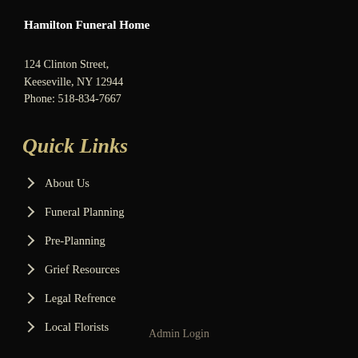Hamilton Funeral Home
124 Clinton Street,
Keeseville, NY 12944
Phone: 518-834-7667
Quick Links
About Us
Funeral Planning
Pre-Planning
Grief Resources
Legal Refrence
Local Florists
Admin Login